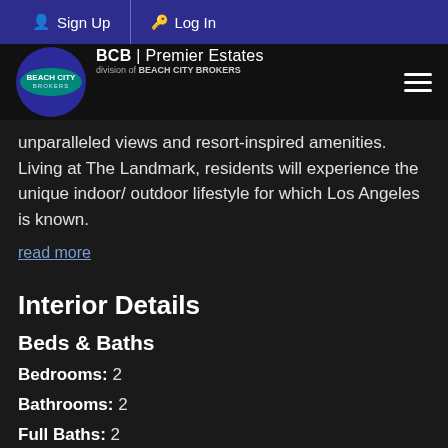Sign Up  Log In
[Figure (logo): Beach City Brokers logo with BCB Premier Estates branding]
unparalleled views and resort-inspired amenities. Living at The Landmark, residents will experience the unique indoor/ outdoor lifestyle for which Los Angeles is known.
read more
Interior Details
Beds & Baths
Bedrooms:  2
Bathrooms:  2
Full Baths:  2